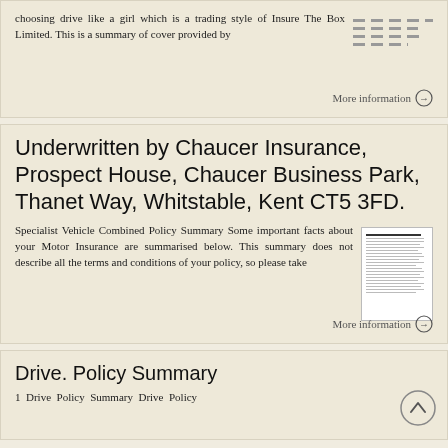choosing drive like a girl which is a trading style of Insure The Box Limited. This is a summary of cover provided by
More information →
Underwritten by Chaucer Insurance, Prospect House, Chaucer Business Park, Thanet Way, Whitstable, Kent CT5 3FD.
Specialist Vehicle Combined Policy Summary Some important facts about your Motor Insurance are summarised below. This summary does not describe all the terms and conditions of your policy, so please take
More information →
Drive. Policy Summary
1  Drive Policy Summary  Drive  Policy